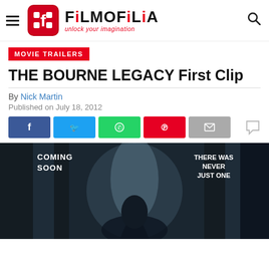FiLMOFiLiA - unlock your imagination
MOVIE TRAILERS
THE BOURNE LEGACY First Clip
By Nick Martin
Published on July 18, 2012
[Figure (infographic): Social sharing buttons: Facebook (blue), Twitter (light blue), WhatsApp (green), Pinterest (red), Email (grey), and a comment bubble icon]
[Figure (photo): Movie promotional image for The Bourne Legacy showing a dark figure from behind with text overlays: 'COMING SOON' on the left and 'THERE WAS NEVER JUST ONE' on the right]